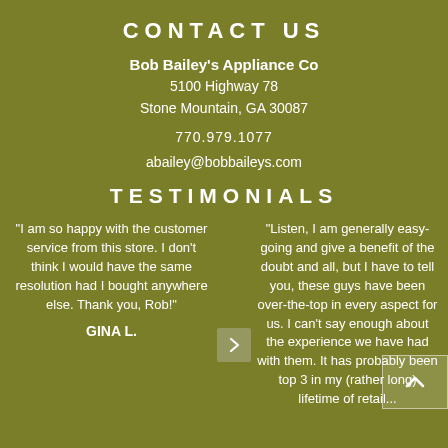CONTACT US
Bob Bailey's Appliance Co
5100 Highway 78
Stone Mountain, GA 30087

770.979.1077

abailey@bobbaileys.com
TESTIMONIALS
"I am so happy with the customer service from this store. I don't think I would have the same resolution had I bought anywhere else. Thank you, Rob!"
GINA L.
"Listen, I am generally easy-going and give a benefit of the doubt and all, but I have to tell you, these guys have been over-the-top in every aspect for us. I can't say enough about the experience we have had with them. It has probably been top 3 in my (rather long) lifetime of retail...